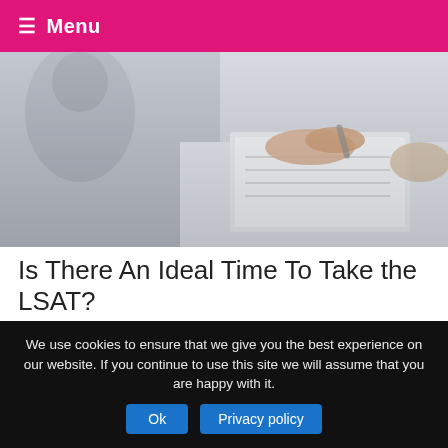☰ Menu
[Figure (photo): Close-up photo of a student writing on paper at a desk, with another student blurred in the background.]
Is There An Ideal Time To Take the LSAT?
December 15, 2021
The Law School Admission Test (LSAT) is a mandatory exam required for admission into law school. The exam tests students' skills and capabilities of succeeding in law school. Such skills are comprehension, reasoning, and analytical …
We use cookies to ensure that we give you the best experience on our website. If you continue to use this site we will assume that you are happy with it.